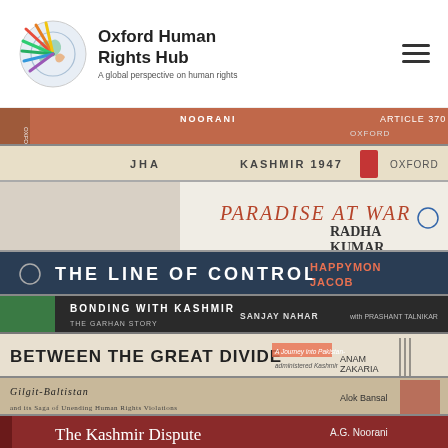[Figure (logo): Oxford Human Rights Hub logo — a globe with colorful leaves/rays, beside text 'Oxford Human Rights Hub — A global perspective on human rights']
[Figure (photo): A stack of books about Kashmir and related topics, photographed from the side showing their spines. Books visible include: 'Noorani – Article 370 – Oxford', 'Jha – Kashmir 1947 – Oxford', 'Paradise at War – Radha Kumar', 'The Line of Control – Happymon Jacob', 'Bonding with Kashmir: The Garhan Story – Sanjay Nahar with Prashant Talnikar', 'Between the Great Divide: A Journey into Pakistan-administered Kashmir – Anam Zakaria', 'Gilgit-Baltistan and its Saga of Unending Human Rights Violations – Alok Bansal', 'The Kashmir Dispute – A.G. Noorani', 'Where Borders Bleed – Rajiv Dogra']